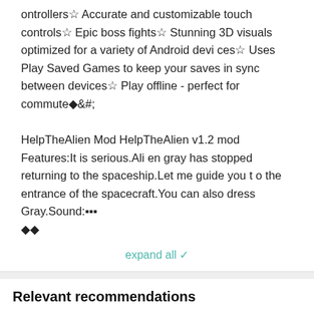ontrollers☆ Accurate and customizable touch controls☆ Epic boss fights☆ Stunning 3D visuals optimized for a variety of Android devices☆ Uses Play Saved Games to keep your saves in sync between devices☆ Play offline - perfect for commute♦&#; HelpTheAlien Mod HelpTheAlien v1.2 mod Features:It is serious.Alien gray has stopped returning to the spaceship.Let me guide you to the entrance of the spacecraft.You can also dress Gray.Sound:♦♦
expand all ∨
Relevant recommendations
[Figure (other): App icons row: Ragdoll Falling (placeholder), gta iv mods (man with tools, 2021 banner), Claw Toys (soldier), and a fourth placeholder with scroll-to-top button]